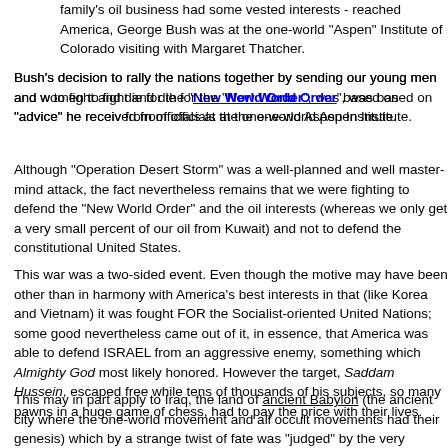family's oil business had some vested interests - reached America, George Bush was at the one-world "Aspen" Institute of Colorado visiting with Margaret Thatcher.
Bush's decision to rally the nations together by sending our young men and women to fight and die for the "New World Order", was based on "advice" he received from officials at the one-world Aspen Institute.
Although "Operation Desert Storm" was a well-planned and well master-minded attack, the fact nevertheless remains that we were fighting to defend the "New World Order" and the oil interests (whereas we only get a very small percent of our oil from Kuwait) and not to defend the constitutional United States.
This war was a two-sided event. Even though the motive may have been other than in harmony with America's best interests in that (like Korea and Vietnam) it was fought FOR the Socialist-oriented United Nations; some good nevertheless came out of it, in essence, that America was able to defend ISRAEL from an aggressive enemy, something which Almighty God most likely honored. However the target, Saddam Hussein, escaped free while tens of thousands of his subjects, so many pawns in a huge game of chess, had to pay the price with their lives.
This may in part apply to Iraq, the land of ancient Babylon (the ancient city where the one-world movement and all occult movements had their genesis) which by a strange twist of fate was "judged" by the very oppressive movement which it had created. Notice also Bush's constant references to the "New World Order" - a concept which is a mockery of the Declaration of INDEPENDENCE which our forefathers shed their blood to defend.
True, we must as a nation not ignore the rest of the world, yet at the same time should not send our young men to other parts of the world without...